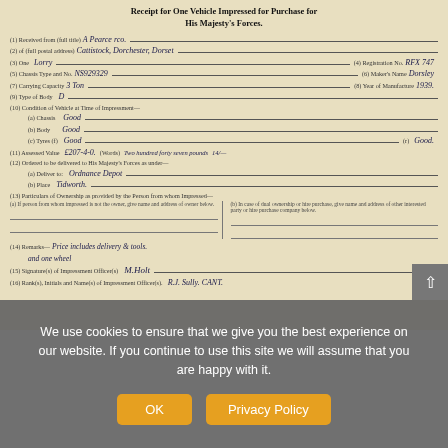Receipt for One Vehicle Impressed for Purchase for His Majesty's Forces.
(1) Received from (full title) A Pearce rco.
(2) of (full postal address) Cattistock, Dorchester, Dorset
(3) One Lorry (4) Registration No. RFX 747
(5) Chassis Type and No. NS929329 (6) Maker's Name Dorsley
(7) Carrying Capacity 3 Ton (8) Year of Manufacture 1939.
(9) Type of Body D
(10) Condition of Vehicle at Time of Impressment—
   (a) Chassis Good
   (b) Body Good
   (c) Tyres (f) Good (r) Good.
(11) Assessed Value £207-4-0. (Words) Two hundred forty seven pounds 14/—
(12) Ordered to be delivered to His Majesty's Forces as under—
   (a) Deliver to: Ordnance Depot
   (b) Place Tidworth.
(13) Particulars of Ownership as provided by the Person from whom Impressed—
(a) If person from whom impressed is not the owner, give name and address of owner below.
(b) In case of dual ownership or hire purchase, give name and address of other interested party or hire purchase company below.
(14) Remarks: Price includes delivery & tools and one wheel
(15) Signature(s) of Impressment Officer(s) [signature]
(16) Rank(s), Initials and Name(s) of Impressment Officer(s). R.J. Sully. CANT.
We use cookies to ensure that we give you the best experience on our website. If you continue to use this site we will assume that you are happy with it.
OK
Privacy Policy